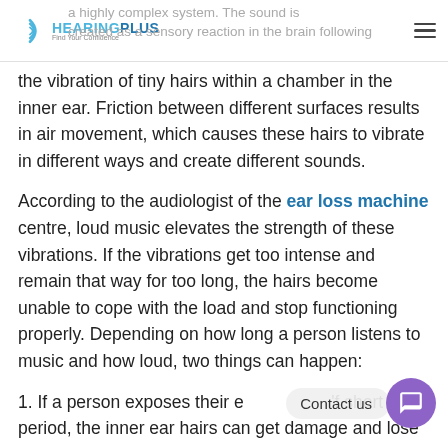HEARING PLUS — Find Your Confidence
...a highly complex system. The sound is created as a sensory reaction in the brain following the vibration of tiny hairs within a chamber in the inner ear. Friction between different surfaces results in air movement, which causes these hairs to vibrate in different ways and create different sounds.
According to the audiologist of the ear loss machine centre, loud music elevates the strength of these vibrations. If the vibrations get too intense and remain that way for too long, the hairs become unable to cope with the load and stop functioning properly. Depending on how long a person listens to music and how loud, two things can happen:
1. If a person exposes their ears to loud music for a short period, the inner ear hairs can get damaged and lose their sensitivity, but they can recover over